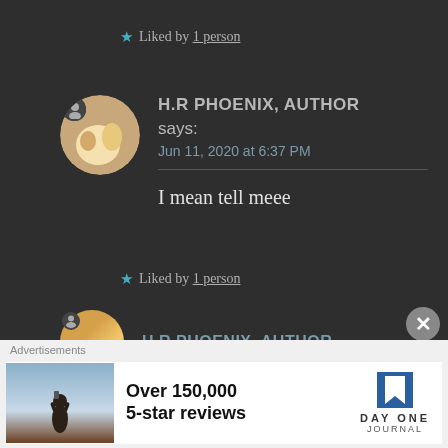★ Liked by 1 person
H.R PHOENIX, AUTHOR says:
Jun 11, 2020 at 6:37 PM
I mean tell meee
★ Liked by 1 person
H.R PHOENIX, AUTHOR
Advertisements
Over 150,000
5-star reviews
[Figure (logo): Day One Journal logo — blue bookmark icon with text DAY ONE JOURNAL]